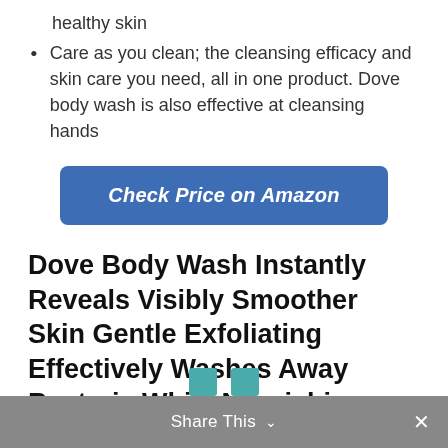healthy skin
Care as you clean; the cleansing efficacy and skin care you need, all in one product. Dove body wash is also effective at cleansing hands
[Figure (other): Blue rounded-rectangle button reading 'Check Price on Amazon' in bold italic white text]
Dove Body Wash Instantly Reveals Visibly Smoother Skin Gentle Exfoliating Effectively Washes Away Bacteria While Nourishing Your Skin, 22 oz, 2 Count
Share This ∨  ✕